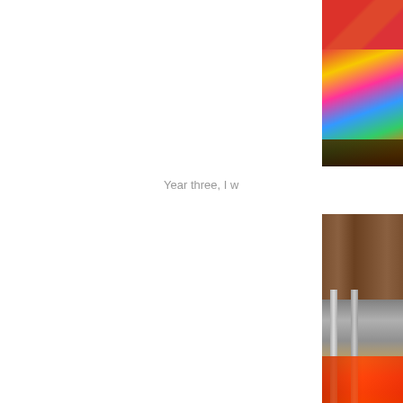[Figure (photo): Partial view of a colorful photo on the right edge of the page, showing bright multicolored fabric or costume, cropped on the left side]
Year three, I w
[Figure (photo): Partial view of a second photo on the right edge, showing what appears to be items on a wooden surface with colorful fabric, cropped on the left side]